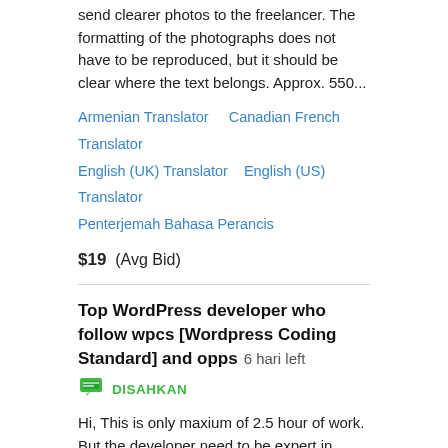send clearer photos to the freelancer. The formatting of the photographs does not have to be reproduced, but it should be clear where the text belongs. Approx. 550...
Armenian Translator   Canadian French Translator   English (UK) Translator   English (US) Translator   Penterjemah Bahasa Perancis
$19  (Avg Bid)
Top WordPress developer who follow wpcs [Wordpress Coding Standard] and opps   6 hari left
DISAHKAN
Hi, This is only maxium of 2.5 hour of work. But the developer need to be expert in wordpress programming and opps.
Object Oriented Programming (OOP)   PHP   Wordpress
$27 / hr  (Avg Bid)